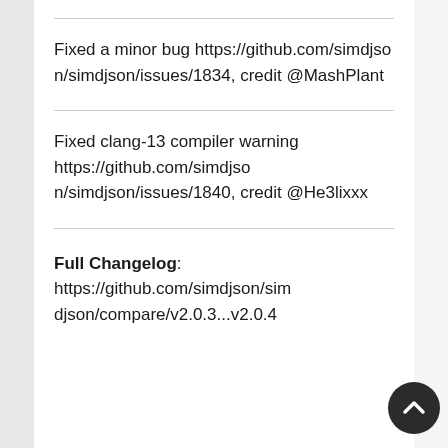Fixed a minor bug https://github.com/simdjson/simdjson/issues/1834, credit @MashPlant
Fixed clang-13 compiler warning https://github.com/simdjson/simdjson/issues/1840, credit @He3lixxx
Full Changelog: https://github.com/simdjson/simdjson/compare/v2.0.3...v2.0.4